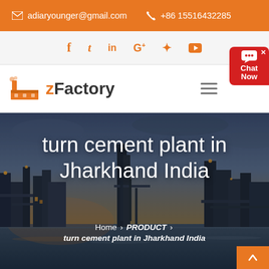adiaryounger@gmail.com  +86 15516432285
f  t  in  G+  pinterest  youtube
zFactory
[Figure (screenshot): zFactory website header with logo, social icons, contact bar, and hero image of industrial cement plant at dusk with text: turn cement plant in Jharkhand India]
turn cement plant in Jharkhand India
Home › PRODUCT › turn cement plant in Jharkhand India